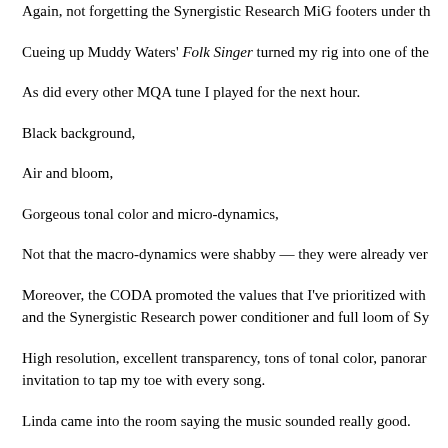Again, not forgetting the Synergistic Research MiG footers under th
Cueing up Muddy Waters' Folk Singer turned my rig into one of the
As did every other MQA tune I played for the next hour.
Black background,
Air and bloom,
Gorgeous tonal color and micro-dynamics,
Not that the macro-dynamics were shabby — they were already ver
Moreover, the CODA promoted the values that I've prioritized with and the Synergistic Research power conditioner and full loom of Sy
High resolution, excellent transparency, tons of tonal color, panoramic invitation to tap my toe with every song.
Linda came into the room saying the music sounded really good.
I showed her the Tidal streaming service.
She turned around and looked at my wall of LP records and said "G